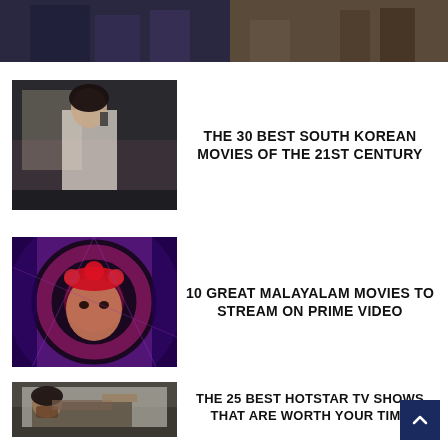[Figure (photo): Top banner image showing a dark scene with figures, split into two panels]
[Figure (photo): Thumbnail image of a woman in period clothing on the phone, from a Korean movie]
THE 30 BEST SOUTH KOREAN MOVIES OF THE 21ST CENTURY
[Figure (photo): Thumbnail image of a woman with red floral headdress in colorful lights, from a Malayalam movie]
10 GREAT MALAYALAM MOVIES TO STREAM ON PRIME VIDEO
[Figure (photo): Thumbnail image of a man lying down, from a Hotstar TV show]
THE 25 BEST HOTSTAR TV SHOWS THAT ARE WORTH YOUR TIME